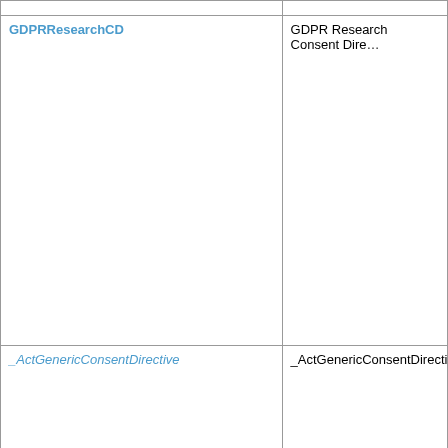|  |  |
| GDPRResearchCD | GDPR Research Consent Dire... |
| _ActGenericConsentDirective | _ActGenericConsentDirective |